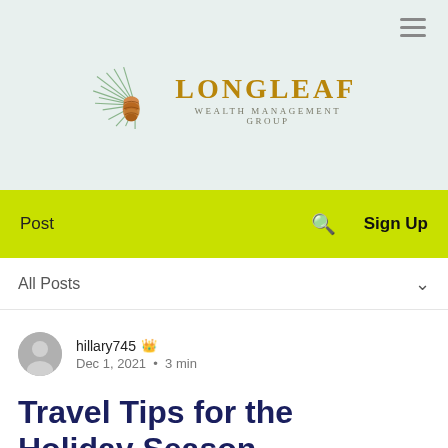[Figure (logo): Longleaf Wealth Management Group logo with pine branch and pine cone illustration, text LONGLEAF in gold serif and Wealth Management Group subtitle]
Post   Search   Sign Up
All Posts
hillary745  Dec 1, 2021 · 3 min
Travel Tips for the Holiday Season